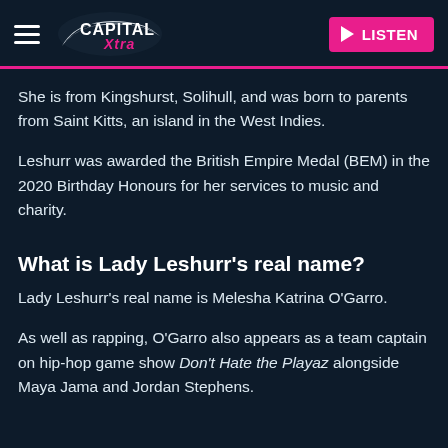[Figure (logo): Capital Xtra radio station logo with hamburger menu icon on left and LISTEN button on right]
She is from Kingshurst, Solihull, and was born to parents from Saint Kitts, an island in the West Indies.
Leshurr was awarded the British Empire Medal (BEM) in the 2020 Birthday Honours for her services to music and charity.
What is Lady Leshurr's real name?
Lady Leshurr's real name is Melesha Katrina O'Garro.
As well as rapping, O'Garro also appears as a team captain on hip-hop game show Don't Hate the Playaz alongside Maya Jama and Jordan Stephens.